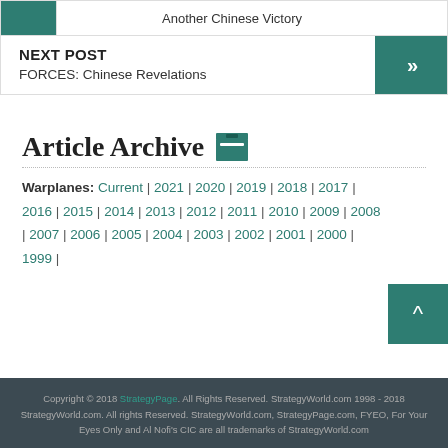Another Chinese Victory
NEXT POST
FORCES: Chinese Revelations
Article Archive
Warplanes: Current | 2021 | 2020 | 2019 | 2018 | 2017 | 2016 | 2015 | 2014 | 2013 | 2012 | 2011 | 2010 | 2009 | 2008 | 2007 | 2006 | 2005 | 2004 | 2003 | 2002 | 2001 | 2000 | 1999 |
Copyright © 2018 StrategyPage. All Rights Reserved. StrategyWorld.com 1998 - 2018 StrategyWorld.com. All rights Reserved. StrategyWorld.com, StrategyPage.com, FYEO, For Your Eyes Only and Al Nofi's CIC are all trademarks of StrategyWorld.com